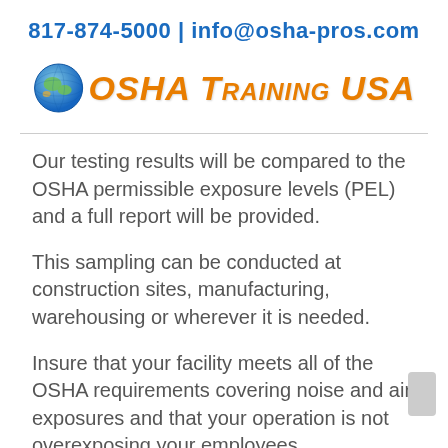817-874-5000 | info@osha-pros.com
[Figure (logo): OSHA Training USA logo with globe icon and orange italic text]
Our testing results will be compared to the OSHA permissible exposure levels (PEL) and a full report will be provided.
This sampling can be conducted at construction sites, manufacturing, warehousing or wherever it is needed.
Insure that your facility meets all of the OSHA requirements covering noise and air exposures and that your operation is not overexposing your employees.